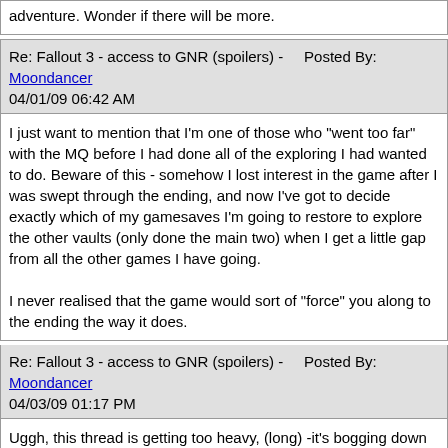adventure. Wonder if there will be more.
Re: Fallout 3 - access to GNR (spoilers) -    Posted By: Moondancer
04/01/09 06:42 AM
I just want to mention that I'm one of those who "went too far" with the MQ before I had done all of the exploring I had wanted to do. Beware of this - somehow I lost interest in the game after I was swept through the ending, and now I've got to decide exactly which of my gamesaves I'm going to restore to explore the other vaults (only done the main two) when I get a little gap from all the other games I have going.

I never realised that the game would sort of "force" you along to the ending the way it does.
Re: Fallout 3 - access to GNR (spoilers) -    Posted By: Moondancer
04/03/09 01:17 PM
Uggh, this thread is getting too heavy, (long) -it's bogging down my browser.

Anyway, sorry if this has been asked before, but I cannot face wading through 9 pages of posts which load very slowly possibly because this thread is so huge?